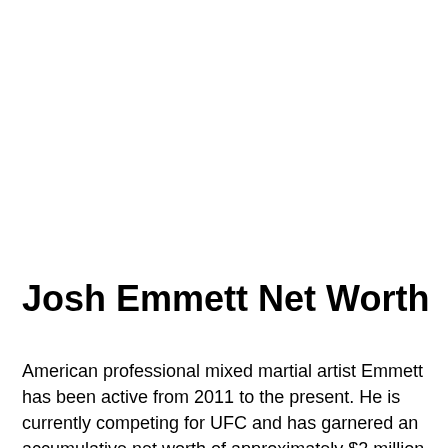Josh Emmett Net Worth
American professional mixed martial artist Emmett has been active from 2011 to the present. He is currently competing for UFC and has garnered an accumulative net worth of approximately $2 million as of 2022.